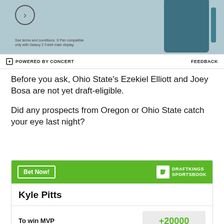[Figure (photo): Advertisement banner showing a Samsung Galaxy Z Fold4 phone with S Pen, teal/dark blue color, partially visible with fine print about terms and conditions]
⊟ POWERED BY CONCERT    FEEDBACK
Before you ask, Ohio State's Ezekiel Elliott and Joey Bosa are not yet draft-eligible.
Did any prospects from Oregon or Ohio State catch your eye last night?
| Kyle Pitts |  |
| --- | --- |
| To win MVP | +20000 |
| To win Offensive Player of the Year | +10000 |